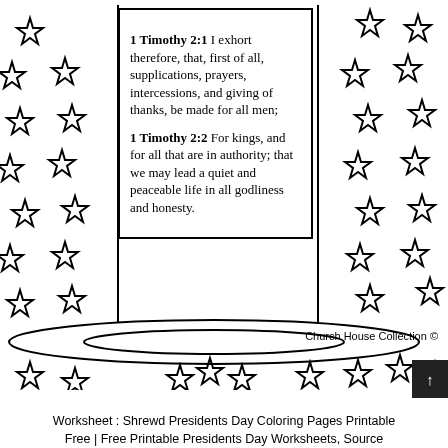[Figure (illustration): Coloring page illustration of a top hat with stars arranged on both sides and below it, drawn in outline style for coloring. Two concentric ellipses form the brim of the hat at the bottom of the hat body. Stars of various sizes scatter around the left, right, and bottom of the composition.]
1 Timothy 2:1  I exhort therefore, that, first of all, supplications, prayers, intercessions, and giving of thanks, be made for all men;

1 Timothy 2:2  For kings, and for all that are in authority; that we may lead a quiet and peaceable life in all godliness and honesty.
Church House Collection ©
Worksheet : Shrewd Presidents Day Coloring Pages Printable Free | Free Printable Presidents Day Worksheets, Source